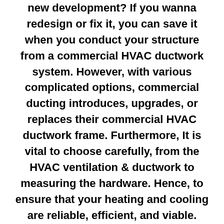new development? If you wanna redesign or fix it, you can save it when you conduct your structure from a commercial HVAC ductwork system. However, with various complicated options, commercial ducting introduces, upgrades, or replaces their commercial HVAC ductwork frame. Furthermore, It is vital to choose carefully, from the HVAC ventilation & ductwork to measuring the hardware. Hence, to ensure that your heating and cooling are reliable, efficient, and viable.